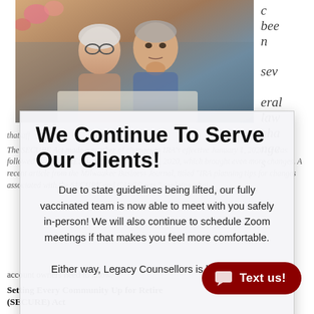[Figure (photo): Elderly couple sitting together, reading a document, looking concerned or thoughtful. Woman with glasses and white hair, man in blue shirt.]
c been several law changes
that aff
The SECURE Act made a number of changes to IRA's effective January 1, 2020. It was followed by the CARES Act, effective March 27, 2020, which brought even more changes. A recent article from the Milwaukee Business Journal, titled "IRA planning tips for changes associated with the SECURE and CARES acts," explains what
We Continue To Serve Our Clients!
Due to state guidelines being lifted, our fully vaccinated team is now able to meet with you safely in-person! We will also continue to schedule Zoom meetings if that makes you feel more comfortable. Either way, Legacy Counsellors is here for you!
account owners need to know.
Setting Every Community Up for Retirement (SECURE) Act